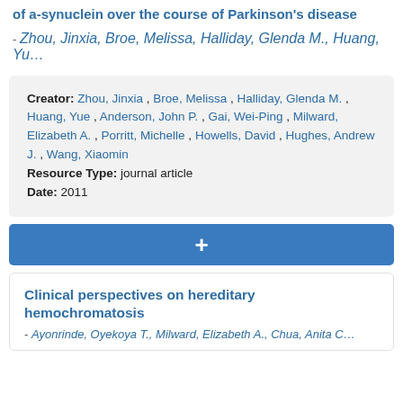of a-synuclein over the course of Parkinson's disease
- Zhou, Jinxia, Broe, Melissa, Halliday, Glenda M., Huang, Yu…
Creator: Zhou, Jinxia , Broe, Melissa , Halliday, Glenda M. , Huang, Yue , Anderson, John P. , Gai, Wei-Ping , Milward, Elizabeth A. , Porritt, Michelle , Howells, David , Hughes, Andrew J. , Wang, Xiaomin
Resource Type: journal article
Date: 2011
+
Clinical perspectives on hereditary hemochromatosis
- Ayonrinde, Oyekoya T., Milward, Elizabeth A., Chua, Anita C…